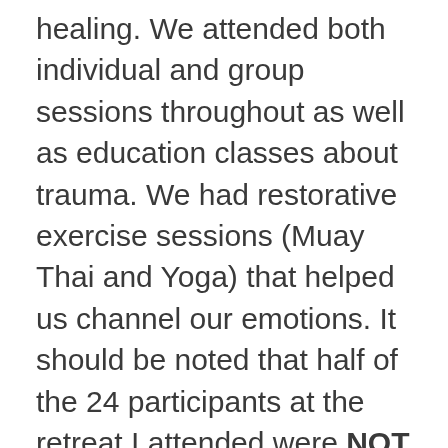healing. We attended both individual and group sessions throughout as well as education classes about trauma. We had restorative exercise sessions (Muay Thai and Yoga) that helped us channel our emotions. It should be noted that half of the 24 participants at the retreat I attended were NOT affiliated with Younique, but rather members of the community referred from outside agencies.
My advice? Please don't make this into a smarmy sort of thing...because it was